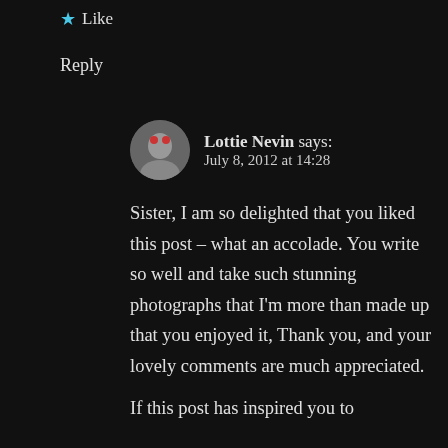★ Like
Reply
Lottie Nevin says:
July 8, 2012 at 14:28
Sister, I am so delighted that you liked this post – what an accolade. You write so well and take such stunning photographs that I'm more than made up that you enjoyed it, Thank you, and your lovely comments are much appreciated.

If this post has inspired you to